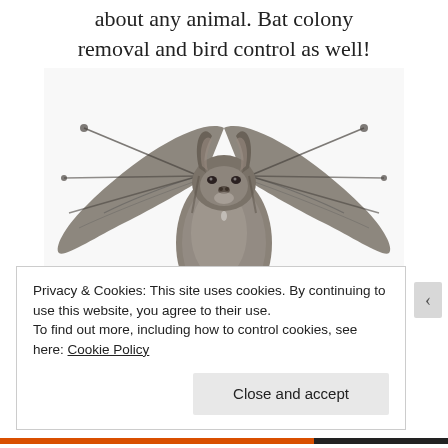about any animal. Bat colony removal and bird control as well!
[Figure (photo): A bat hanging upside down, facing the camera, with wings spread, against a white background.]
Privacy & Cookies: This site uses cookies. By continuing to use this website, you agree to their use.
To find out more, including how to control cookies, see here: Cookie Policy
Close and accept